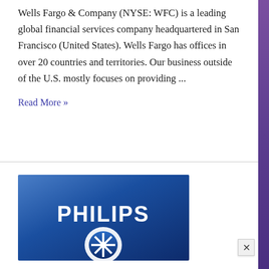Wells Fargo & Company (NYSE: WFC) is a leading global financial services company headquartered in San Francisco (United States). Wells Fargo has offices in over 20 countries and territories. Our business outside of the U.S. mostly focuses on providing ...
Read More »
[Figure (logo): Philips logo on dark blue gradient background, showing the PHILIPS wordmark in white bold letters and the Philips shield/star emblem below it]